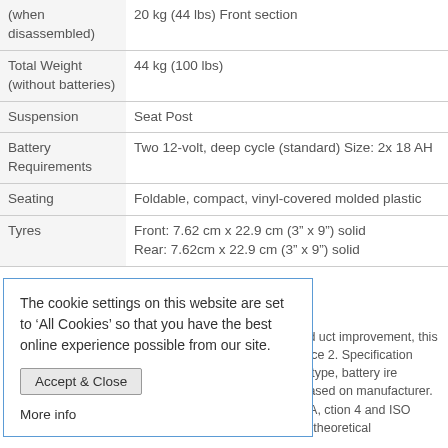| Attribute | Value |
| --- | --- |
| (when disassembled) | 20 kg (44 lbs) Front section |
| Total Weight (without batteries) | 44 kg (100 lbs) |
| Suspension | Seat Post |
| Battery Requirements | Two 12-volt, deep cycle (standard) Size: 2x 18 AH |
| Seating | Foldable, compact, vinyl-covered molded plastic |
| Tyres | Front: 7.62 cm x 22.9 cm (3” x 9”) solid
Rear: 7.62cm x 22.9 cm (3” x 9”) solid |
...ufacturing tolerances and uct improvement, this an be subject to a variance 2. Specification varies with rrain, battery type, battery ire pressure. 3. Battery ry based on manufacturer. rdance with ANSI/RESNA, ction 4 and ISO 7176-4 ults derived from theoretical
The cookie settings on this website are set to 'All Cookies' so that you have the best online experience possible from our site.